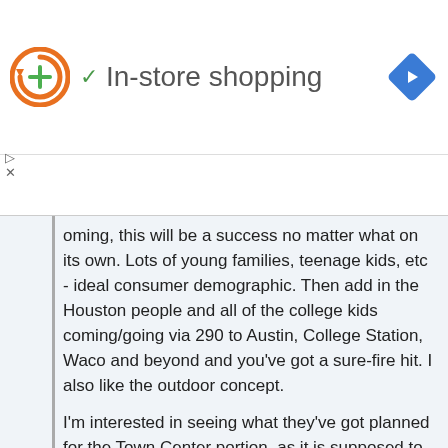[Figure (logo): Orange circular arrow logo with green plus sign, followed by green checkmark and 'In-store shopping' text, and blue navigation diamond icon on the right]
oming, this will be a success no matter what on its own. Lots of young families, teenage kids, etc - ideal consumer demographic. Then add in the Houston people and all of the college kids coming/going via 290 to Austin, College Station, Waco and beyond and you've got a sure-fire hit. I also like the outdoor concept.

I'm interested in seeing what they've got planned for the Town Center portion, as it is supposed to be twice the size.
You'd think that development would follow northward as a result. However, if you look at development in Conroe, the major construction seems to end as you move from Conroe ISD into Willis ISD (and does not really take off again until you reach Huntsville). The same may hold true on 290. Cy-Fair ISD ends once you move north of Fairfield. Waller has not particularly developed the way Tomball has and it may take a LONG time for